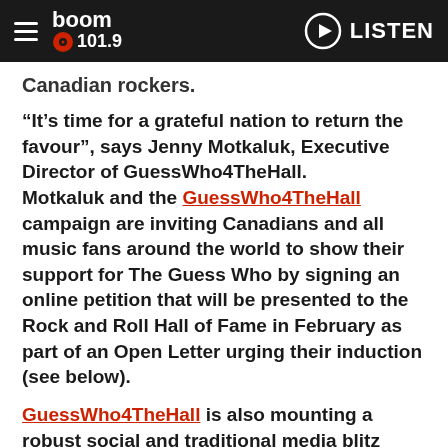boom 101.9 — LISTEN
Canadian rockers.
“It’s time for a grateful nation to return the favour”, says Jenny Motkaluk, Executive Director of GuessWho4TheHall. Motkaluk and the GuessWho4TheHall campaign are inviting Canadians and all music fans around the world to show their support for The Guess Who by signing an online petition that will be presented to the Rock and Roll Hall of Fame in February as part of an Open Letter urging their induction (see below).
GuessWho4TheHall is also mounting a robust social and traditional media blitz across the country to raise awareness for the cause and promote signing of the petition. A cam…